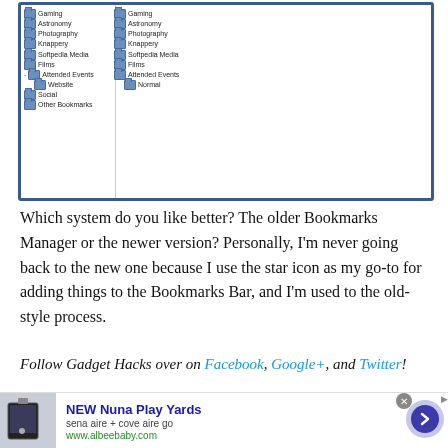[Figure (screenshot): Browser screenshot showing a Bookmarks Manager with two panes: left pane with folder tree (Gaming, Astronomy, Photography, Knappery, Softpedia Media, Films, Attended Events > Website, Social, Other Bookmarks) and right pane with similar folders (Gaming, Astronomy, Photography, Knappery, Softpedia Media, Films, Attended Events > Normal).]
Which system do you like better? The older Bookmarks Manager or the newer version? Personally, I'm never going back to the new one because I use the star icon as my go-to for adding things to the Bookmarks Bar, and I'm used to the old-style process.
Follow Gadget Hacks over on Facebook, Google+, and Twitter!
[Figure (other): Advertisement banner for NEW Nuna Play Yards: sena aire + cove aire go, www.albeebaby.com]